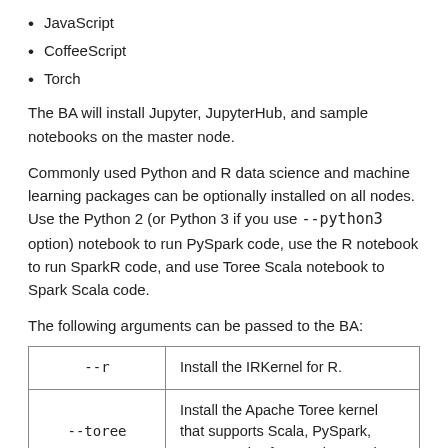JavaScript
CoffeeScript
Torch
The BA will install Jupyter, JupyterHub, and sample notebooks on the master node.
Commonly used Python and R data science and machine learning packages can be optionally installed on all nodes. Use the Python 2 (or Python 3 if you use --python3 option) notebook to run PySpark code, use the R notebook to run SparkR code, and use Toree Scala notebook to Spark Scala code.
The following arguments can be passed to the BA:
| --r | Install the IRKernel for R. |
| --toree | Install the Apache Toree kernel that supports Scala, PySpark, SQL, SparkR for Apache Spark. |